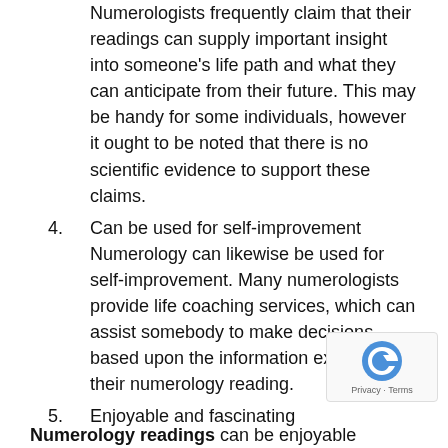Numerologists frequently claim that their readings can supply important insight into someone's life path and what they can anticipate from their future. This may be handy for some individuals, however it ought to be noted that there is no scientific evidence to support these claims.
4. Can be used for self-improvement Numerology can likewise be used for self-improvement. Many numerologists provide life coaching services, which can assist somebody to make decisions based upon the information exposed in their numerology reading.
5. Enjoyable and fascinating
Numerology readings can be enjoyable